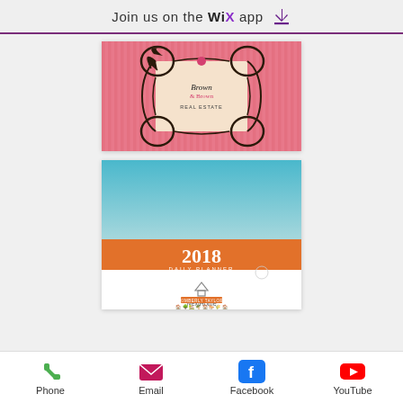Join us on the WiX app ↓
[Figure (illustration): Pink striped real estate business card with ornate black scrollwork frame and 'Brown & Brown Real Estate' text]
[Figure (illustration): 2018 Daily Planner cover with teal gradient top, orange banner reading '2018 DAILY PLANNER', NextHome logo, and small town silhouette at bottom]
[Figure (infographic): Bottom navigation bar with Phone (green), Email (pink), Facebook (blue), YouTube (red) icons and labels]